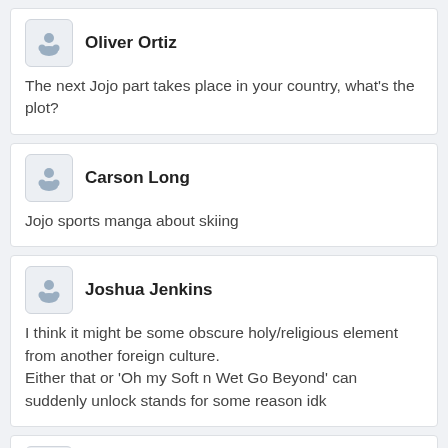Oliver Ortiz
The next Jojo part takes place in your country, what's the plot?
Carson Long
Jojo sports manga about skiing
Joshua Jenkins
I think it might be some obscure holy/religious element from another foreign culture.
Either that or 'Oh my Soft n Wet Go Beyond' can suddenly unlock stands for some reason idk
Lucas White
I don't expect it to be true, but Araki will need a good excuse for the corpse to be in another country.